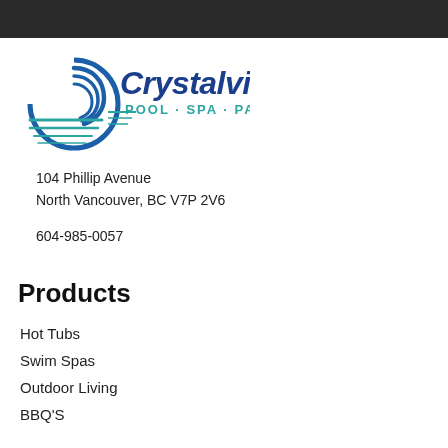[Figure (logo): Crystalview Pool Spa Patio logo with blue wave/circle graphic and text]
104 Phillip Avenue
North Vancouver, BC V7P 2V6
604-985-0057
Products
Hot Tubs
Swim Spas
Outdoor Living
BBQ'S